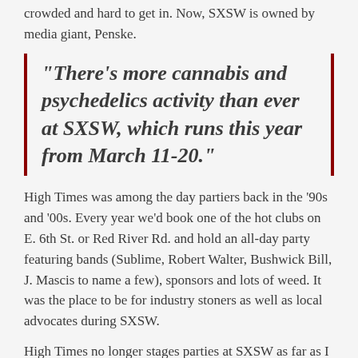crowded and hard to get in. Now, SXSW is owned by media giant, Penske.
"There's more cannabis and psychedelics activity than ever at SXSW, which runs this year from March 11-20."
High Times was among the day partiers back in the '90s and '00s. Every year we'd book one of the hot clubs on E. 6th St. or Red River Rd. and hold an all-day party featuring bands (Sublime, Robert Walter, Bushwick Bill, J. Mascis to name a few), sponsors and lots of weed. It was the place to be for industry stoners as well as local advocates during SXSW.
High Times no longer stages parties at SXSW as far as I know. They should. There's more